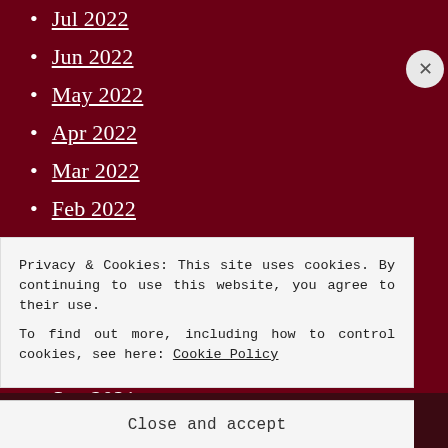Jul 2022
Jun 2022
May 2022
Apr 2022
Mar 2022
Feb 2022
Jan 2022
Dec 2021
Nov 2021
Oct 2021
Sep 2021
Privacy & Cookies: This site uses cookies. By continuing to use this website, you agree to their use. To find out more, including how to control cookies, see here: Cookie Policy
Close and accept